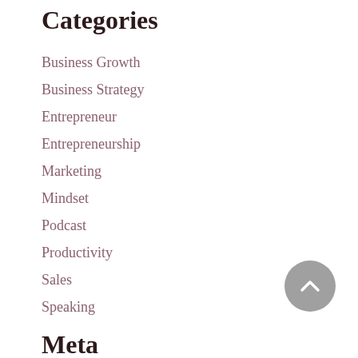Categories
Business Growth
Business Strategy
Entrepreneur
Entrepreneurship
Marketing
Mindset
Podcast
Productivity
Sales
Speaking
Meta